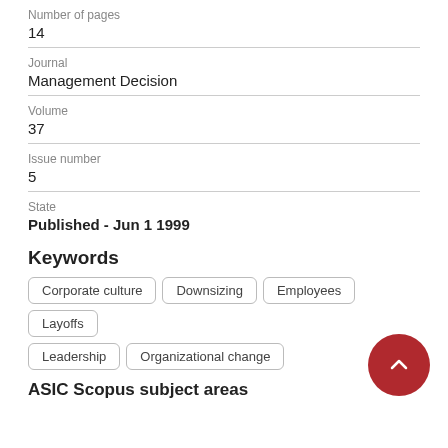Number of pages
14
Journal
Management Decision
Volume
37
Issue number
5
State
Published - Jun 1 1999
Keywords
Corporate culture
Downsizing
Employees
Layoffs
Leadership
Organizational change
ASIC Scopus subject areas